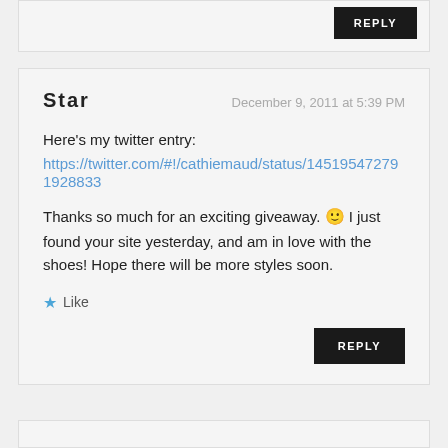REPLY
Star
December 9, 2011 at 5:39 PM
Here's my twitter entry:
https://twitter.com/#!/cathiemaud/status/145195472791928833
Thanks so much for an exciting giveaway. 🙂 I just found your site yesterday, and am in love with the shoes! Hope there will be more styles soon.
★ Like
REPLY